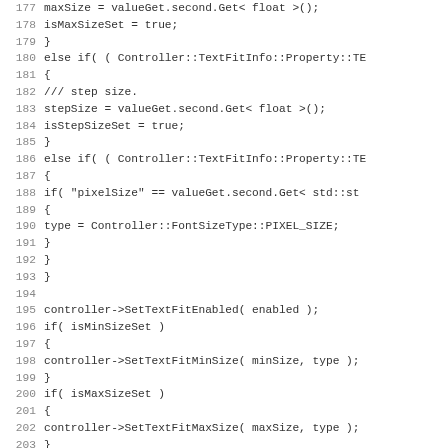Source code listing, lines 177-209, C++ code for text fit property parsing and controller method calls.